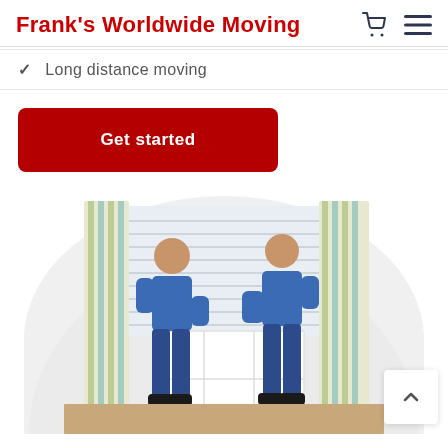Frank's Worldwide Moving
Long distance moving
Get started
[Figure (photo): Two movers in blue uniforms carrying a white bookshelf inside a bright room with window blinds and striped curtains, displayed inside a rounded arch/oval shaped frame.]